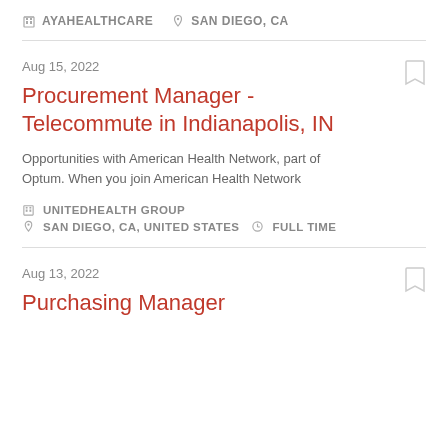AYAHEALTHCARE   SAN DIEGO, CA
Aug 15, 2022
Procurement Manager - Telecommute in Indianapolis, IN
Opportunities with American Health Network, part of Optum. When you join American Health Network
UNITEDHEALTH GROUP   SAN DIEGO, CA, UNITED STATES   FULL TIME
Aug 13, 2022
Purchasing Manager